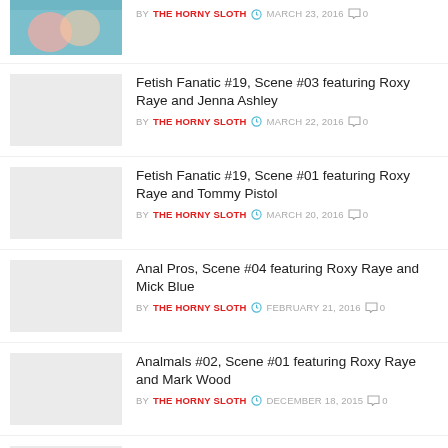[Figure (photo): Thumbnail image (partial, top) showing people in teal/blue background]
BY THE HORNY SLOTH  MARCH 23, 2016  0
[Figure (photo): Gray placeholder thumbnail]
Fetish Fanatic #19, Scene #03 featuring Roxy Raye and Jenna Ashley
BY THE HORNY SLOTH  MARCH 22, 2016  0
[Figure (photo): Gray placeholder thumbnail]
Fetish Fanatic #19, Scene #01 featuring Roxy Raye and Tommy Pistol
BY THE HORNY SLOTH  MARCH 20, 2016  0
[Figure (photo): Gray placeholder thumbnail]
Anal Pros, Scene #04 featuring Roxy Raye and Mick Blue
BY THE HORNY SLOTH  FEBRUARY 21, 2016  0
[Figure (photo): Gray placeholder thumbnail]
Analmals #02, Scene #01 featuring Roxy Raye and Mark Wood
BY THE HORNY SLOTH  DECEMBER 18, 2015  0
[Figure (photo): Gray placeholder thumbnail]
Adriana Chechik – The Ultimate Slut, Scene #03 featuring Dana Vespoli and Roxy Raye
BY THE HORNY SLOTH  NOVEMBER 2015